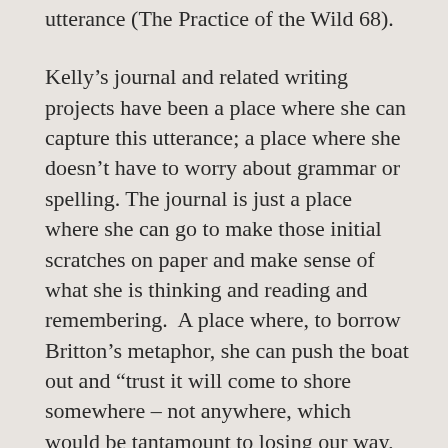utterance (The Practice of the Wild 68).
Kelly's journal and related writing projects have been a place where she can capture this utterance; a place where she doesn't have to worry about grammar or spelling. The journal is just a place where she can go to make those initial scratches on paper and make sense of what she is thinking and reading and remembering.  A place where, to borrow Britton's metaphor, she can push the boat out and “trust it will come to shore somewhere – not anywhere, which would be tantamount to losing our way, but somewhere that constitutes a stage on a